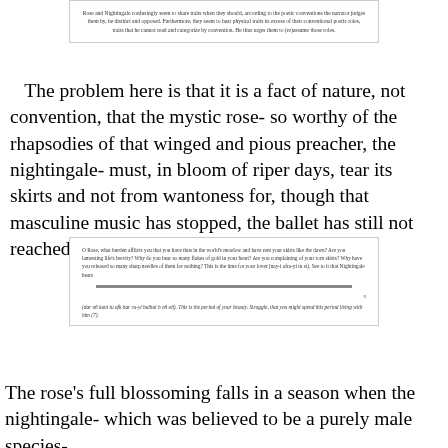[Figure (screenshot): Boxed excerpt of scholarly text: 'Rose and Nightingale confusingly seem to share traits when they should, according to the poetic conventions the narrator judges them by, be distinct and opposed. Furthermore, they seem to bear physical traits in excess of their conventional poetic roles, traits that he cannot read and categorize by convention. He thus urges them to (re)assume those roles.']
The problem here is that it is a fact of nature, not convention, that the mystic rose- so worthy of the rhapsodies of that winged and pious preacher, the nightingale- must, in bloom of riper days, tear its skirts and not from wantoness for, though that masculine music has stopped, the ballet has still not reached its denouement.
[Figure (screenshot): Boxed excerpt with quote: 'O Rose, what burden afflicts you that you have thus in the world's meadow and have rent your skirts like the dawn? Are you lamenting life's brevity? Why do you bear so many flakes of gold in your heart? Are you complaining of your torn skirts? Why have you released so many sharp needles of them for nothing? This is the time for your lover [nay-i afra-yi tu st). See to it that Nightingale hears...' followed by a horizontal divider, page number 9, and footer text in italics: '(dar oō kuni tu afk bar ru-yi bulbul h uō uō]. This is the period of your beauty. Struggle, that you might spend this period living with him (7).']
The rose's full blossoming falls in a season when the nightingale- which was believed to be a purely male species-